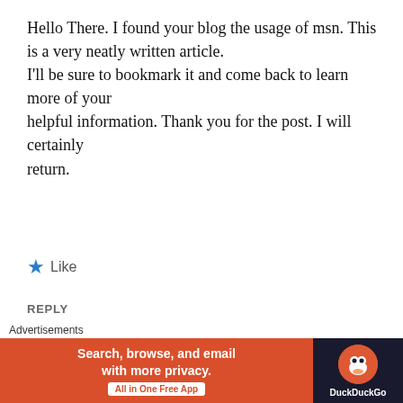Hello There. I found your blog the usage of msn. This is a very neatly written article.
I'll be sure to bookmark it and come back to learn more of your
helpful information. Thank you for the post. I will certainly
return.
★ Like
REPLY
[Figure (other): Partially visible user avatar icon in green]
[Figure (other): Close/X button circle icon]
Advertisements
[Figure (other): DuckDuckGo advertisement banner: orange left panel with text 'Search, browse, and email with more privacy.' and 'All in One Free App'; dark right panel with DuckDuckGo duck logo and label 'DuckDuckGo']